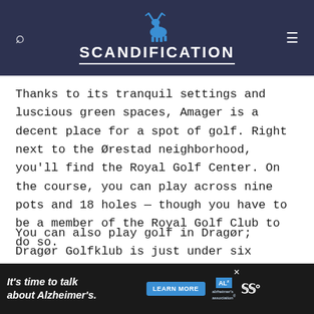SCANDIFICATION
Thanks to its tranquil settings and luscious green spaces, Amager is a decent place for a spot of golf. Right next to the Ørestad neighborhood, you'll find the Royal Golf Center. On the course, you can play across nine pots and 18 holes — though you have to be a member of the Royal Golf Club to do so.
You can also play golf in Dragør; Dragør Golfklub is just under six kilometers from the town center.
ADVERTISEMENT
[Figure (other): Bottom banner advertisement: It's time to talk about Alzheimer's. Learn More button. Alzheimer's Association logo.]